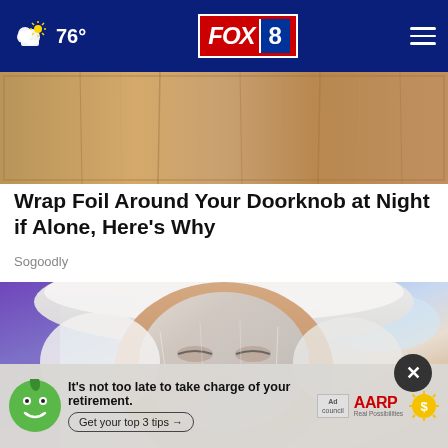FOX 8 — 76°
[Figure (photo): Close-up of a wooden door panel with vertical grain lines, warm brown tones]
Wrap Foil Around Your Doorknob at Night if Alone, Here's Why
Sogoodly
[Figure (photo): Person lying down with a white fluffy wrap around their head and a shiny foil or gel mask applied to their face, eyes closed, against a blue sky background]
[Figure (infographic): AARP advertisement banner: green mascot face on left, text reads 'It's not too late to take charge of your retirement. Get your top 3 tips →', Ad Council logo, AARP logo, and sun icon with dollar sign]